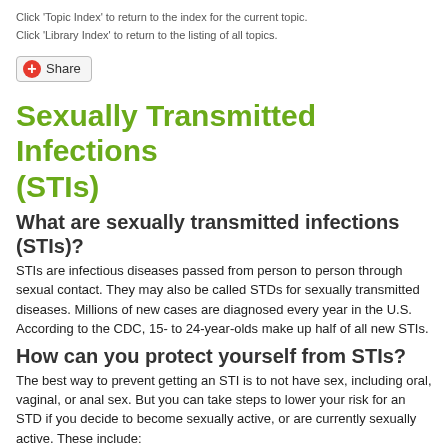Click 'Topic Index' to return to the index for the current topic.
Click 'Library Index' to return to the listing of all topics.
[Figure (other): Share button with red plus icon]
Sexually Transmitted Infections (STIs)
What are sexually transmitted infections (STIs)?
STIs are infectious diseases passed from person to person through sexual contact. They may also be called STDs for sexually transmitted diseases. Millions of new cases are diagnosed every year in the U.S. According to the CDC, 15- to 24-year-olds make up half of all new STIs.
How can you protect yourself from STIs?
The best way to prevent getting an STI is to not have sex, including oral, vaginal, or anal sex. But you can take steps to lower your risk for an STD if you decide to become sexually active, or are currently sexually active. These include: